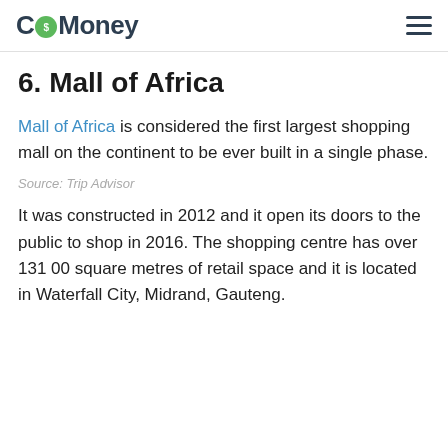CoMoney
6. Mall of Africa
Mall of Africa is considered the first largest shopping mall on the continent to be ever built in a single phase.
Source: Trip Advisor
It was constructed in 2012 and it open its doors to the public to shop in 2016. The shopping centre has over 131 00 square metres of retail space and it is located in Waterfall City, Midrand, Gauteng.